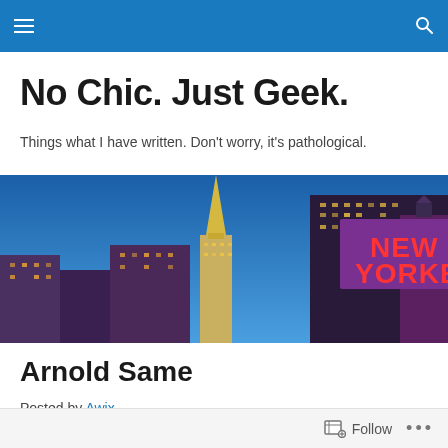Navigation bar with hamburger menu and search icon
No Chic. Just Geek.
Things what I have written. Don't worry, it's pathological.
[Figure (photo): New York City skyline at dusk featuring the Empire State Building and New Yorker Hotel with illuminated neon sign]
Arnold Same
Posted by Awix
Follow  •••